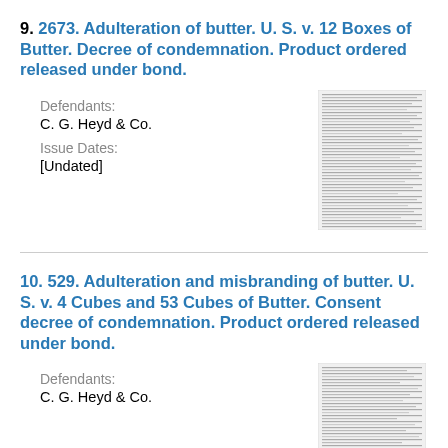9. 2673. Adulteration of butter. U. S. v. 12 Boxes of Butter. Decree of condemnation. Product ordered released under bond.
Defendants:
C. G. Heyd & Co.
Issue Dates:
[Undated]
[Figure (photo): Thumbnail image of a scanned document page with dense text]
10. 529. Adulteration and misbranding of butter. U. S. v. 4 Cubes and 53 Cubes of Butter. Consent decree of condemnation. Product ordered released under bond.
Defendants:
C. G. Heyd & Co.
[Figure (photo): Thumbnail image of a scanned document page with dense text]